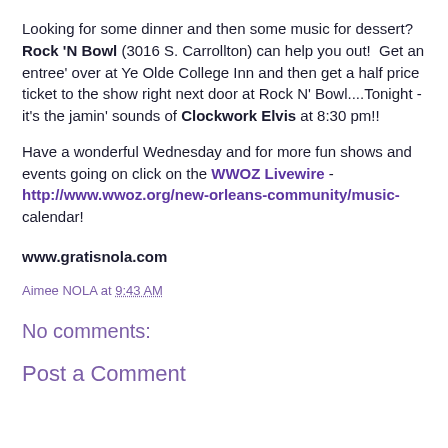Looking for some dinner and then some music for dessert? Rock 'N Bowl (3016 S. Carrollton) can help you out!  Get an entree' over at Ye Olde College Inn and then get a half price ticket to the show right next door at Rock N' Bowl....Tonight - it's the jamin' sounds of Clockwork Elvis at 8:30 pm!!
Have a wonderful Wednesday and for more fun shows and events going on click on the WWOZ Livewire - http://www.wwoz.org/new-orleans-community/music-calendar!
www.gratisnola.com
Aimee NOLA at 9:43 AM
No comments:
Post a Comment